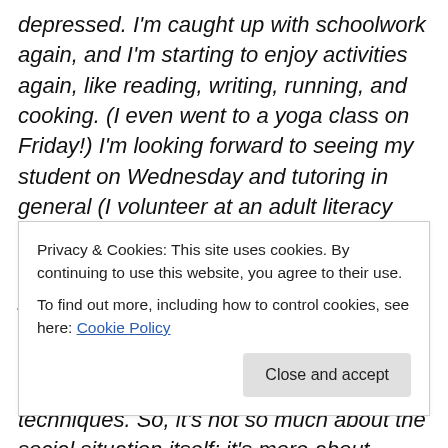depressed. I'm caught up with schoolwork again, and I'm starting to enjoy activities again, like reading, writing, running, and cooking. (I even went to a yoga class on Friday!) I'm looking forward to seeing my student on Wednesday and tutoring in general (I volunteer at an adult literacy center), as well as Thanksgiving. (I'm not delighted about being around fourteen people, but I do want to see if my mood holds up and how, or if, that will affect the outcome of the social situation. Plus, I want to test out some of my new cognitive techniques. So, it's not so much about the social situation itself; it's more about seeing
Privacy & Cookies: This site uses cookies. By continuing to use this website, you agree to their use.
To find out more, including how to control cookies, see here: Cookie Policy